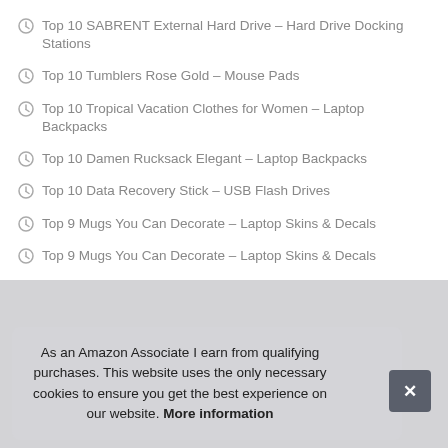Top 10 SABRENT External Hard Drive – Hard Drive Docking Stations
Top 10 Tumblers Rose Gold – Mouse Pads
Top 10 Tropical Vacation Clothes for Women – Laptop Backpacks
Top 10 Damen Rucksack Elegant – Laptop Backpacks
Top 10 Data Recovery Stick – USB Flash Drives
Top 9 Mugs You Can Decorate – Laptop Skins & Decals
Top 9 Mugs You Can Decorate – Laptop Skins & Decals
As an Amazon Associate I earn from qualifying purchases. This website uses the only necessary cookies to ensure you get the best experience on our website. More information